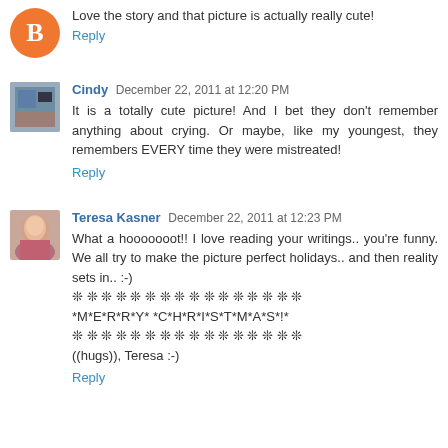Love the story and that picture is actually really cute!
Reply
Cindy  December 22, 2011 at 12:20 PM
It is a totally cute picture! And I bet they don't remember anything about crying. Or maybe, like my youngest, they remembers EVERY time they were mistreated!
Reply
Teresa Kasner  December 22, 2011 at 12:23 PM
What a hooooooot!! I love reading your writings.. you're funny. We all try to make the picture perfect holidays.. and then reality sets in.. :-)
❊ ❊ ❊ ❊ ❊ ❊ ❊ ❊ ❊ ❊ ❊ ❊ ❊ ❊ ❊ ❊
*M*E*R*R*Y* *C*H*R*I*S*T*M*A*S*!*
❊ ❊ ❊ ❊ ❊ ❊ ❊ ❊ ❊ ❊ ❊ ❊ ❊ ❊ ❊ ❊
((hugs)), Teresa :-)
Reply